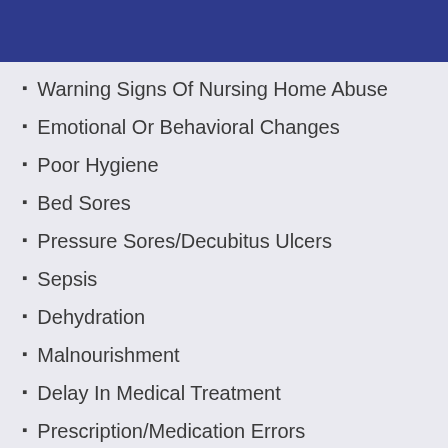Warning Signs Of Nursing Home Abuse
Emotional Or Behavioral Changes
Poor Hygiene
Bed Sores
Pressure Sores/Decubitus Ulcers
Sepsis
Dehydration
Malnourishment
Delay In Medical Treatment
Prescription/Medication Errors
Resident Abandonment